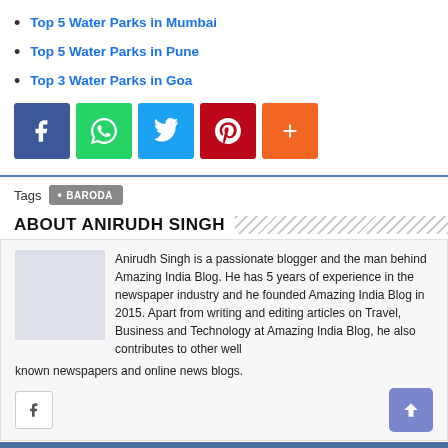Top 5 Water Parks in Mumbai
Top 5 Water Parks in Pune
Top 3 Water Parks in Goa
[Figure (infographic): Social share buttons: Facebook (blue), WhatsApp (green), Twitter (light blue), Pinterest (red), More/Plus (orange)]
Tags  • BARODA
ABOUT ANIRUDH SINGH
Anirudh Singh is a passionate blogger and the man behind Amazing India Blog. He has 5 years of experience in the newspaper industry and he founded Amazing India Blog in 2015. Apart from writing and editing articles on Travel, Business and Technology at Amazing India Blog, he also contributes to other well known newspapers and online news blogs.